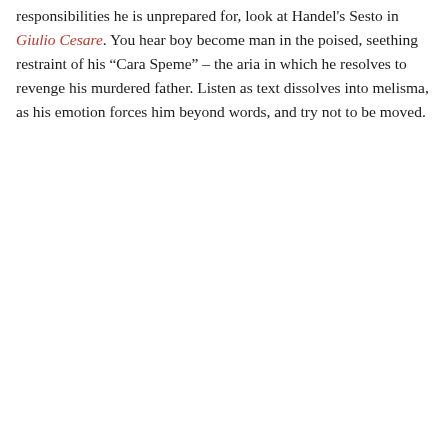responsibilities he is unprepared for, look at Handel's Sesto in Giulio Cesare. You hear boy become man in the poised, seething restraint of his “Cara Speme” – the aria in which he resolves to revenge his murdered father. Listen as text dissolves into melisma, as his emotion forces him beyond words, and try not to be moved.